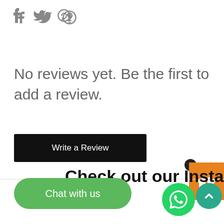[Figure (infographic): Social media share icons: Facebook (f), Twitter (bird), Pinterest (P) in gray]
No reviews yet. Be the first to add a review.
[Figure (other): Black button labeled 'Write a Review']
[Figure (other): Orange gift widget on right edge with badge showing '1']
Check out our Instagram
[Figure (other): Green 'Chat with us' button, WhatsApp circle icon, scroll-to-top arrow circle]
[Figure (other): Scroll to top green circle button with up arrow]